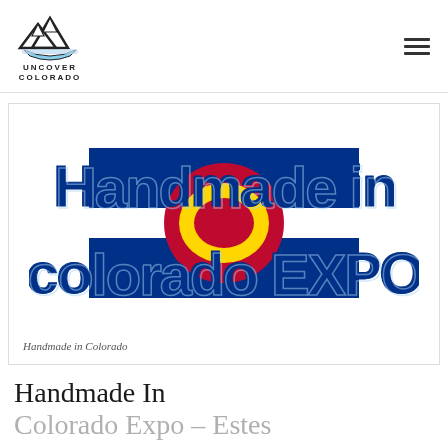UNCOVER COLORADO
[Figure (logo): Handmade in Colorado Expo event logo — large bold dark blue text reading 'Handmade in Colorado Expo' with Colorado state flag imagery (red, yellow, blue) overlaid in the letters]
Handmade in Colorado
Handmade In Colorado Expo – Estes